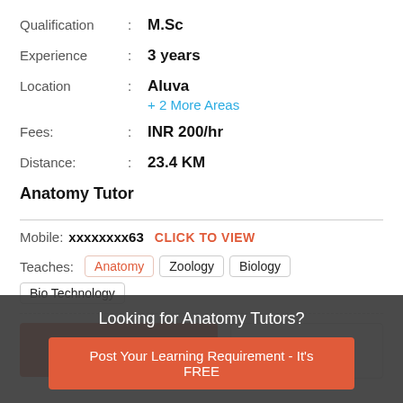Qualification : M.Sc
Experience : 3 years
Location : Aluva
+ 2 More Areas
Fees: : INR 200/hr
Distance: : 23.4 KM
Anatomy Tutor
Mobile: xxxxxxxx63 CLICK TO VIEW
Teaches: Anatomy Zoology Biology Bio Technology
REQUEST A CALLBACK
SEND MESSAGE
Looking for Anatomy Tutors?
Post Your Learning Requirement - It's FREE